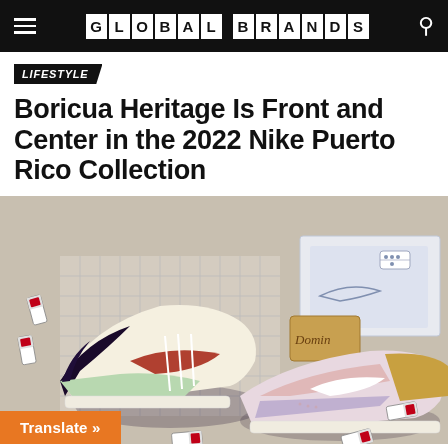GLOBAL BRANDS
LIFESTYLE
Boricua Heritage Is Front and Center in the 2022 Nike Puerto Rico Collection
[Figure (photo): Two Nike sneakers from the 2022 Puerto Rico Collection displayed on a checkered tile surface surrounded by domino pieces and a Nike-branded bandana. The shoes feature multicolor suede panels in mint green, terracotta red, beige, purple, pink and white.]
Translate »